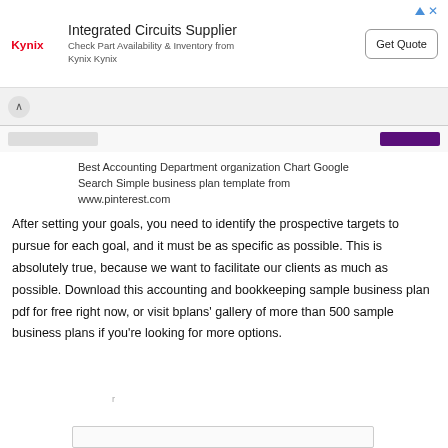[Figure (screenshot): Kynix Integrated Circuits Supplier advertisement banner with logo, text 'Check Part Availability & Inventory from Kynix Kynix', and 'Get Quote' button]
Best Accounting Department organization Chart Google Search Simple business plan template from www.pinterest.com
After setting your goals, you need to identify the prospective targets to pursue for each goal, and it must be as specific as possible. This is absolutely true, because we want to facilitate our clients as much as possible. Download this accounting and bookkeeping sample business plan pdf for free right now, or visit bplans' gallery of more than 500 sample business plans if you're looking for more options.